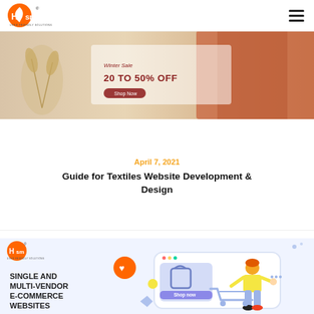HSM User Friendly Solutions
[Figure (photo): Fashion sale banner showing woman with orange jacket and text '20 TO 50% OFF']
April 7, 2021
Guide for Textiles Website Development & Design
[Figure (illustration): HSM ecommerce banner — Single and Multi-Vendor E-Commerce Websites with cartoon person pushing shopping cart, 'Shop now' button, 'Learn more' button]